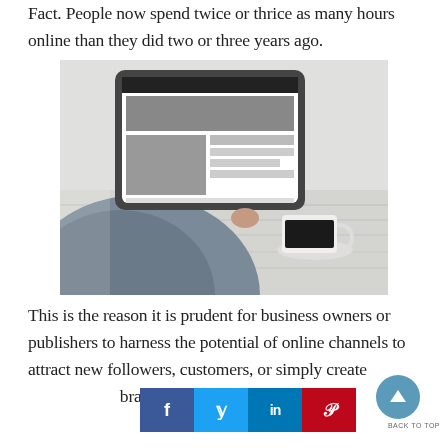Fact. People now spend twice or thrice as many hours online than they did two or three years ago.
[Figure (photo): Person using a tablet device at a wooden table with a cup of coffee nearby]
This is the reason it is prudent for business owners or publishers to harness the potential of online channels to attract new followers, customers, or simply create brand and service.